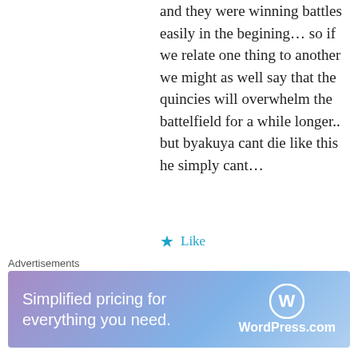and they were winning battles easily in the begining… so if we relate one thing to another we might as well say that the quincies will overwhelm the battelfield for a while longer.. but byakuya cant die like this he simply cant…
★ Like
nick dunn
July 25, 2012 at 9:32 pm
Just cause the Quincys are German does not mean there like the Nazis. The Nazis killed people they did not like. The Vandenreich kill the Hollows but inslave the Arrancars and
[Figure (illustration): Cartoon avatar of a pink/red round creature with antennae and limbs on a cream background]
↩ Reply
Advertisements
[Figure (screenshot): WordPress.com advertisement banner: 'Simplified pricing for everything you need.' with WordPress logo on purple-blue gradient background]